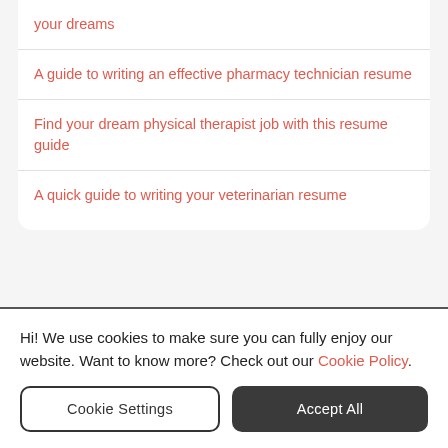your dreams
A guide to writing an effective pharmacy technician resume
Find your dream physical therapist job with this resume guide
A quick guide to writing your veterinarian resume
Hi! We use cookies to make sure you can fully enjoy our website. Want to know more? Check out our Cookie Policy.